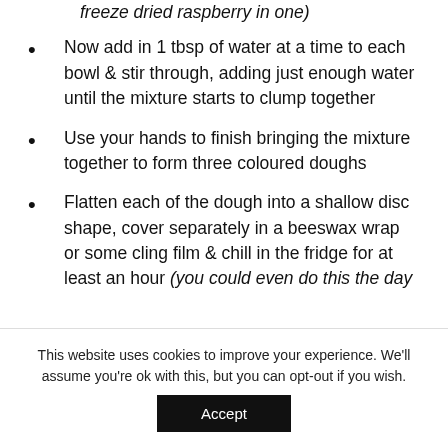freeze dried raspberry in one)
Now add in 1 tbsp of water at a time to each bowl & stir through, adding just enough water until the mixture starts to clump together
Use your hands to finish bringing the mixture together to form three coloured doughs
Flatten each of the dough into a shallow disc shape, cover separately in a beeswax wrap or some cling film & chill in the fridge for at least an hour (you could even do this the day
This website uses cookies to improve your experience. We'll assume you're ok with this, but you can opt-out if you wish.